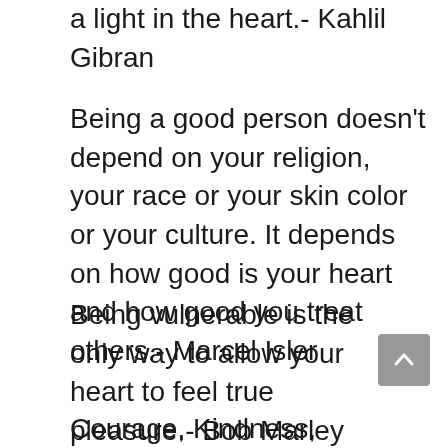a light in the heart.- Kahlil Gibran
Being a good person doesn't depend on your religion, your race or your skin color or your culture. It depends on how good is your heart and how good you treat others.- Marcel Isler
Being vulnerable is the only way to allow your heart to feel true pleasure.- Bob Marley
Courage, Kindness, Friendship,